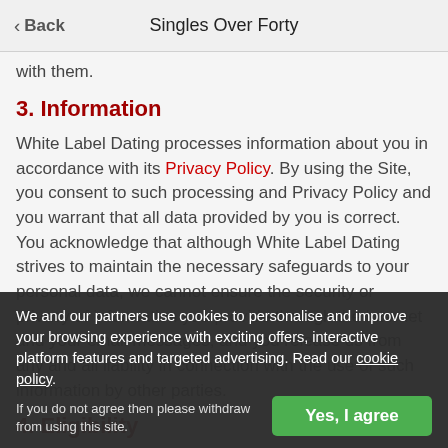Back | Singles Over Forty
with them.
3. Information
White Label Dating processes information about you in accordance with its Privacy Policy. By using the Site, you consent to such processing and Privacy Policy and you warrant that all data provided by you is correct. You acknowledge that although White Label Dating strives to maintain the necessary safeguards to your personal data, we cannot ensure the security or privacy of information you provide through the internet and your email messages, and you release us from any and all liability in connection with the use of such information by other parties.
4. Eligibility
You must be eighteen (18) years old or over to register as a member of the Service or to otherwise utilize the Ser...
Individuals who have been convicted of a sexual offense or...
We and our partners use cookies to personalise and improve your browsing experience with exciting offers, interactive platform features and targeted advertising. Read our cookie policy.
If you do not agree then please withdraw from using this site.